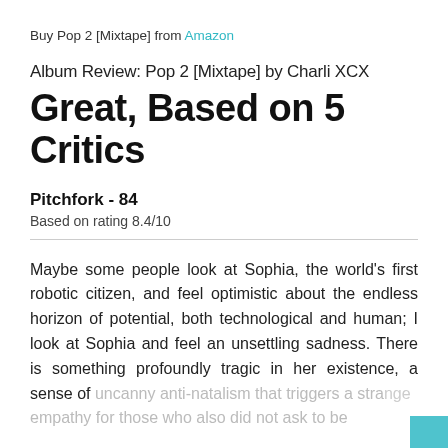Buy Pop 2 [Mixtape] from Amazon
Album Review: Pop 2 [Mixtape] by Charli XCX
Great, Based on 5 Critics
Pitchfork - 84
Based on rating 8.4/10
Maybe some people look at Sophia, the world's first robotic citizen, and feel optimistic about the endless horizon of potential, both technological and human; I look at Sophia and feel an unsettling sadness. There is something profoundly tragic in her existence, a sense of uncanny anti-natalism that triggers a strange empathy for those who also did not ask to be